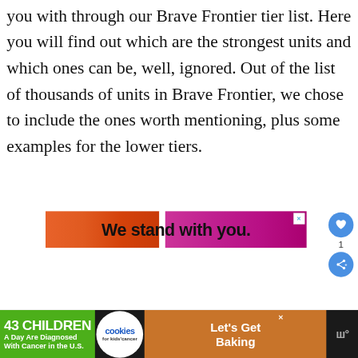you with through our Brave Frontier tier list. Here you will find out which are the strongest units and which ones can be, well, ignored. Out of the list of thousands of units in Brave Frontier, we chose to include the ones worth mentioning, plus some examples for the lower tiers.
[Figure (screenshot): Advertisement banner reading 'We stand with you.' with orange-to-red gradient on left side and magenta/pink on right side, with a close (X) button in top right]
[Figure (screenshot): Social interaction buttons: heart/like button (blue circle), count of 1, and share button (blue circle) on right side]
[Figure (screenshot): Bottom advertisement bar on dark background: '43 CHILDREN A Day Are Diagnosed With Cancer in the U.S.' with cookies for kids' cancer logo and 'Let's Get Baking' text, with close button and W logo]